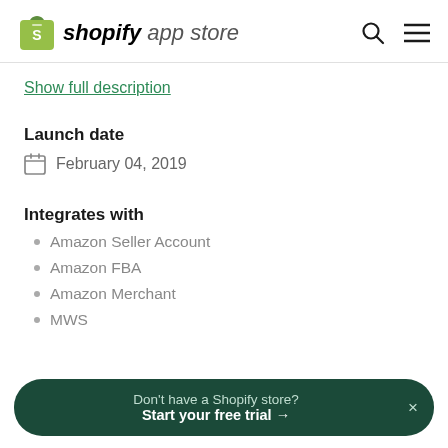shopify app store
Show full description
Launch date
February 04, 2019
Integrates with
Amazon Seller Account
Amazon FBA
Amazon Merchant
MWS
Don't have a Shopify store? Start your free trial →